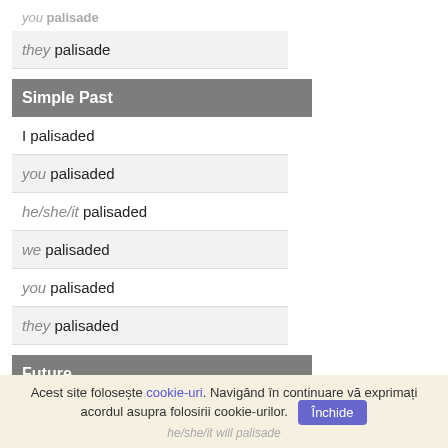you palisade
they palisade
Simple Past
I palisaded
you palisaded
he/she/it palisaded
we palisaded
you palisaded
they palisaded
Future
I will palisade
you will palisade
he/she/it will palisade
Acest site folosește cookie-uri. Navigând în continuare vă exprimați acordul asupra folosirii cookie-urilor. Închide